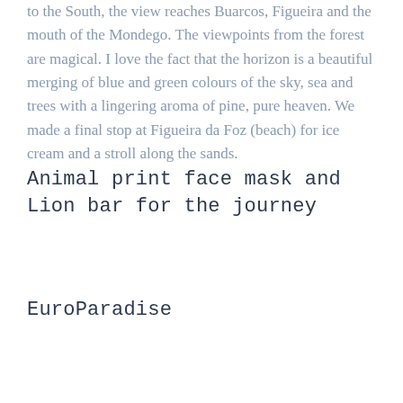to the South, the view reaches Buarcos, Figueira and the mouth of the Mondego. The viewpoints from the forest are magical. I love the fact that the horizon is a beautiful merging of blue and green colours of the sky, sea and trees with a lingering aroma of pine, pure heaven. We made a final stop at Figueira da Foz (beach) for ice cream and a stroll along the sands.
Animal print face mask and Lion bar for the journey
EuroParadise